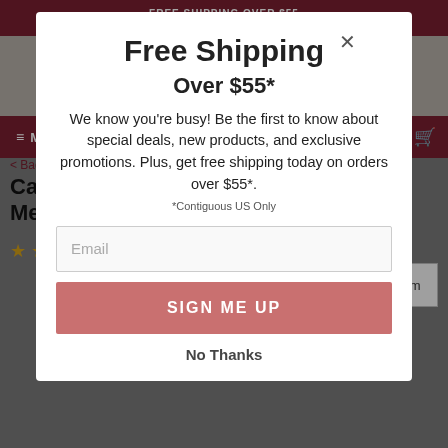FREE SHIPPING OVER $55
Contiguous US Only
[Figure (logo): Dungarees logo with 'SINCE 1999' tagline]
≡ MENU
Search
< Back to Hooded
Carhartt 100247 - Rockford Jacket - Mesh Lined
★★★★★ (4.7) Read All 220 Reviews
[Figure (screenshot): Modal popup overlay with free shipping newsletter signup form. Title: Free Shipping Over $55*. Body: We know you're busy! Be the first to know about special deals, new products, and exclusive promotions. Plus, get free shipping today on orders over $55*. *Contiguous US Only. Email input field. SIGN ME UP button. No Thanks link.]
Zoom